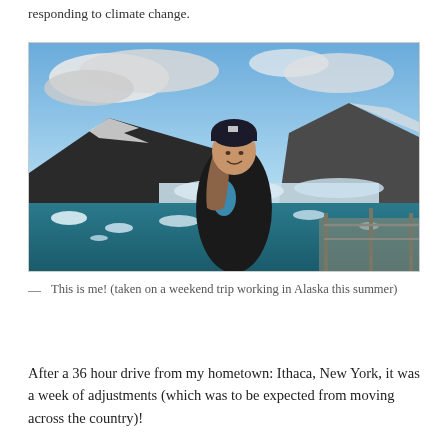responding to climate change.
[Figure (photo): A woman smiling on a boat deck with icebergs, glacial water, and snow-capped mountains in the background in Alaska. She wears a dark beanie and black jacket with blue accents.]
— This is me! (taken on a weekend trip working in Alaska this summer)
After a 36 hour drive from my hometown: Ithaca, New York, it was a week of adjustments (which was to be expected from moving across the country)!